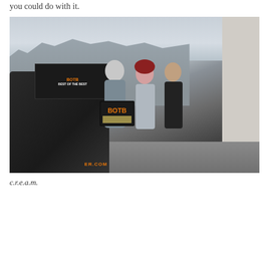you could do with it.
[Figure (photo): Three people standing outside on a residential street next to a dark car. The person on the left holds a BOTB branded box. A residential street with terrace houses is visible in the background. The right side shows a white/cream wall.]
c.r.e.a.m.